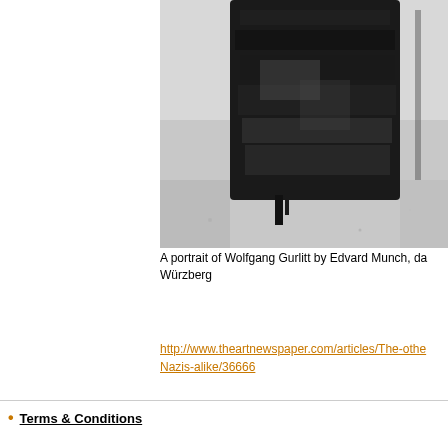[Figure (photo): A black and white photograph showing a portrait painting of Wolfgang Gurlitt by Edvard Munch, with heavy dark brushwork visible on the canvas.]
A portrait of Wolfgang Gurlitt by Edvard Munch, da Würzberg
http://www.theartnewspaper.com/articles/The-othe Nazis-alike/36666
Terms & Conditions